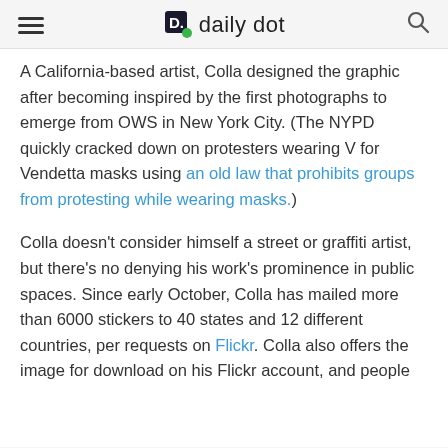daily dot
A California-based artist, Colla designed the graphic after becoming inspired by the first photographs to emerge from OWS in New York City. (The NYPD quickly cracked down on protesters wearing V for Vendetta masks using an old law that prohibits groups from protesting while wearing masks.)
Colla doesn't consider himself a street or graffiti artist, but there's no denying his work's prominence in public spaces. Since early October, Colla has mailed more than 6000 stickers to 40 states and 12 different countries, per requests on Flickr. Colla also offers the image for download on his Flickr account, and people